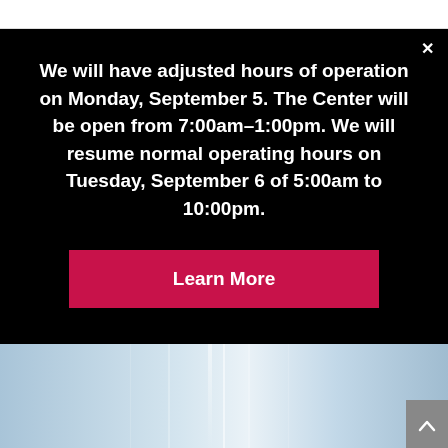We will have adjusted hours of operation on Monday, September 5. The Center will be open from 7:00am–1:00pm. We will resume normal operating hours on Tuesday, September 6 of 5:00am to 10:00pm.
Learn More
[Figure (photo): Blue-grey abstract background photo of a fitness center interior corridor with reflective floor]
Immediate Perks of Exercise